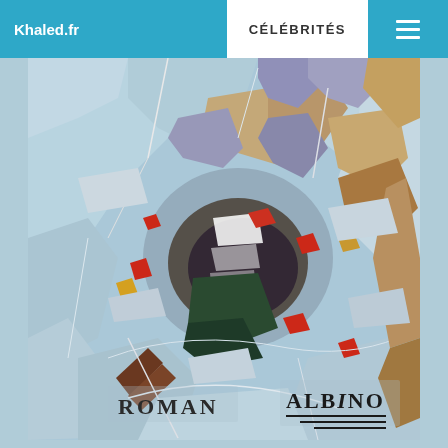Khaled.fr   CÉLÉBRITÉS
[Figure (illustration): Abstract collage artwork depicting a fragmented face made from torn and layered paper/paint pieces in light blue, grey, brown, dark green, red, and purple tones. Bottom-left corner shows text 'ROMAN' and bottom-right shows 'ALBINO' with three horizontal lines beneath it, resembling a book or album cover.]